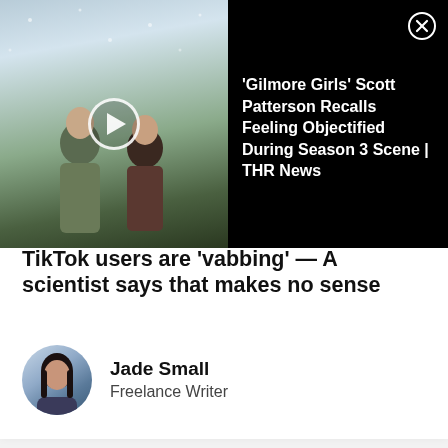[Figure (screenshot): Video thumbnail showing two people sitting in snow outdoors (Gilmore Girls scene), with a play button overlay]
'Gilmore Girls' Scott Patterson Recalls Feeling Objectified During Season 3 Scene | THR News
TikTok users are 'vabbing' — A scientist says that makes no sense
Jade Small
Freelance Writer
[Figure (photo): Close-up photo of a hand pulling something from a jeans back pocket, with a green leather belt visible at the top]